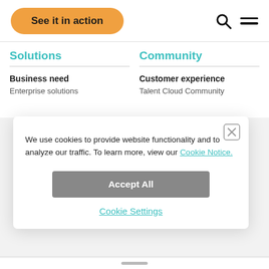See it in action
Solutions
Community
Business need
Enterprise solutions
Customer experience
Talent Cloud Community
We use cookies to provide website functionality and to analyze our traffic. To learn more, view our Cookie Notice.
Accept All
Cookie Settings